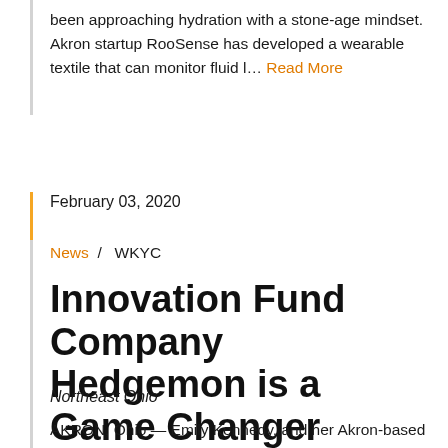been approaching hydration with a stone-age mindset. Akron startup RooSense has developed a wearable textile that can monitor fluid l… Read More
February 03, 2020
News / WKYC
Innovation Fund Company Hedgemon is a Game Changer
Northeast Ohio
AKRON, Ohio — Emily Kennedy, and her Akron-based start-up Hedgemon, just might be part of the solution to